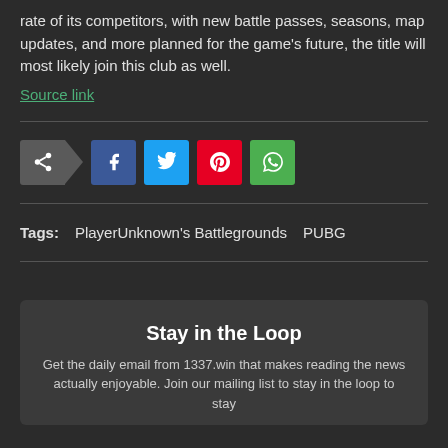rate of its competitors, with new battle passes, seasons, map updates, and more planned for the game's future, the title will most likely join this club as well.
Source link
[Figure (infographic): Social share buttons: a share icon with arrow, followed by Facebook, Twitter, Pinterest, and WhatsApp buttons]
Tags: PlayerUnknown's Battlegrounds   PUBG
Stay in the Loop
Get the daily email from 1337.win that makes reading the news actually enjoyable. Join our mailing list to stay in the loop to stay